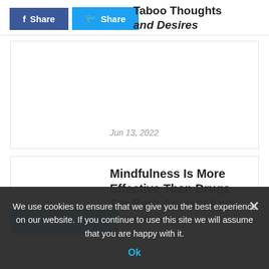f Share  Twitter Share
Taboo Thoughts and Desires
Jun 13, 2022
Mindfulness Is More Effective Than Drugs For Both Anxiety And Depression
Aug 12, 2022
Archives
Select Month
We use cookies to ensure that we give you the best experience on our website. If you continue to use this site we will assume that you are happy with it.
Ok